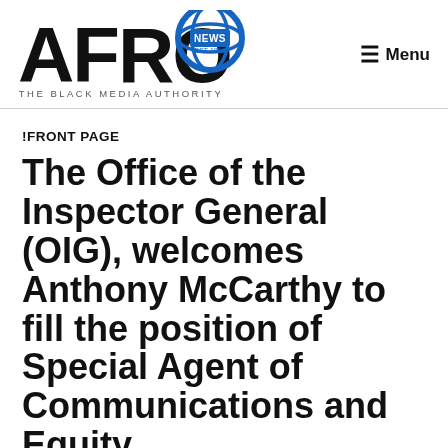[Figure (logo): AFRO News logo — large bold 'AFRO' text with a circular NEWS globe icon and tagline 'THE BLACK MEDIA AUTHORITY']
Menu
!FRONT PAGE
The Office of the Inspector General (OIG), welcomes Anthony McCarthy to fill the position of Special Agent of Communications and Equity